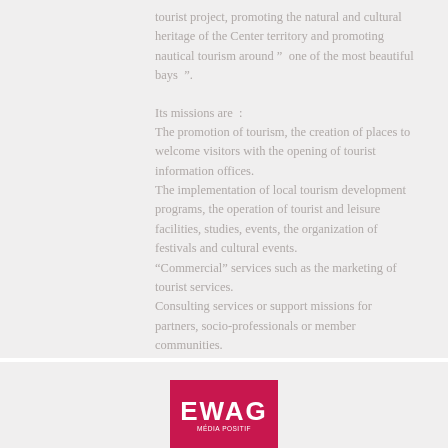tourist project, promoting the natural and cultural heritage of the Center territory and promoting nautical tourism around ”  one of the most beautiful bays  ”.
Its missions are  :
The promotion of tourism, the creation of places to welcome visitors with the opening of tourist information offices.
The implementation of local tourism development programs, the operation of tourist and leisure facilities, studies, events, the organization of festivals and cultural events.
“Commercial” services such as the marketing of tourist services.
Consulting services or support missions for partners, socio-professionals or member communities.
[Figure (logo): EWAG MÉDIA POSITIF logo — white text on a crimson/raspberry red rectangle background]